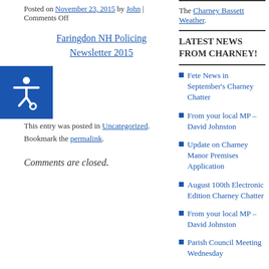Posted on November 23, 2015 by John | Comments Off
Download the Faringdon NH Policing Newsletter 2015
This entry was posted in Uncategorized. Bookmark the permalink.
Comments are closed.
LATEST NEWS FROM CHARNEY!
The Charney Bassett Weather.
Fete News in September's Charney Chatter
From your local MP – David Johnston
Update on Charney Manor Premises Application
August 100th Electronic Edition Charney Chatter
From your local MP – David Johnston
Parish Council Meeting Wednesday